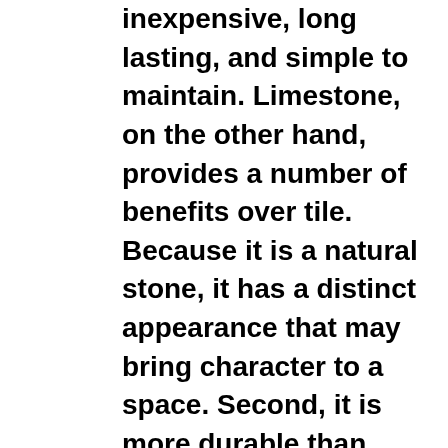inexpensive, long lasting, and simple to maintain. Limestone, on the other hand, provides a number of benefits over tile. Because it is a natural stone, it has a distinct appearance that may bring character to a space. Second, it is more durable than tile, making it a suitable option for locations with a lot of foot activity. Third, unlike certain tiles, it is simple to maintain and does not